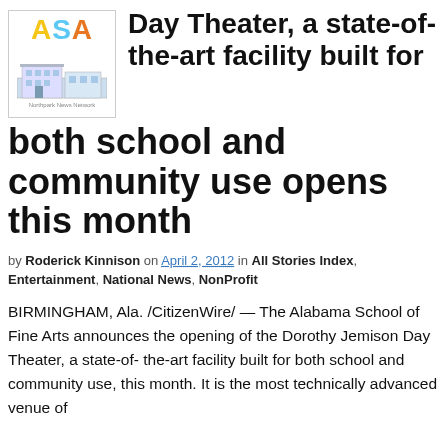[Figure (logo): ASA logo with colored letters and a building illustration, labeled 'Northpark News Network']
Dorothy Jemison Day Theater, a state-of- the-art facility built for both school and community use opens this month
by Roderick Kinnison on April 2, 2012 in All Stories Index, Entertainment, National News, NonProfit
BIRMINGHAM, Ala. /CitizenWire/ — The Alabama School of Fine Arts announces the opening of the Dorothy Jemison Day Theater, a state-of- the-art facility built for both school and community use, this month. It is the most technically advanced venue of